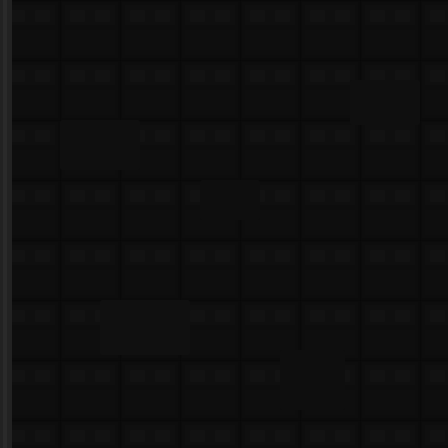[Figure (screenshot): Dark textured game screenshot on the left side showing a dark tile/brick pattern in very dark colors]
Tracker
Podobne
Dezerter33
[Figure (screenshot): Small thumbnail image placeholder for Dezerter33 user]
sylwec1
[Figure (screenshot): Small thumbnail image placeholder for sylwec1 user]